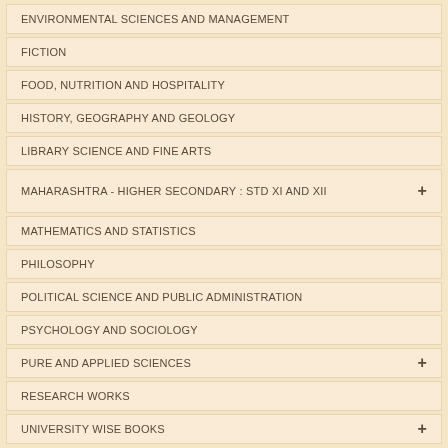ENVIRONMENTAL SCIENCES AND MANAGEMENT
FICTION
FOOD, NUTRITION AND HOSPITALITY
HISTORY, GEOGRAPHY AND GEOLOGY
LIBRARY SCIENCE AND FINE ARTS
MAHARASHTRA - HIGHER SECONDARY : STD XI AND XII
MATHEMATICS AND STATISTICS
PHILOSOPHY
POLITICAL SCIENCE AND PUBLIC ADMINISTRATION
PSYCHOLOGY AND SOCIOLOGY
PURE AND APPLIED SCIENCES
RESEARCH WORKS
UNIVERSITY WISE BOOKS